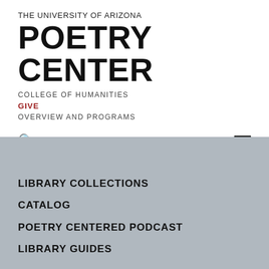THE UNIVERSITY OF ARIZONA POETRY CENTER
COLLEGE OF HUMANITIES
GIVE
OVERVIEW AND PROGRAMS
LIBRARY
LIBRARY COLLECTIONS
CATALOG
POETRY CENTERED PODCAST
LIBRARY GUIDES